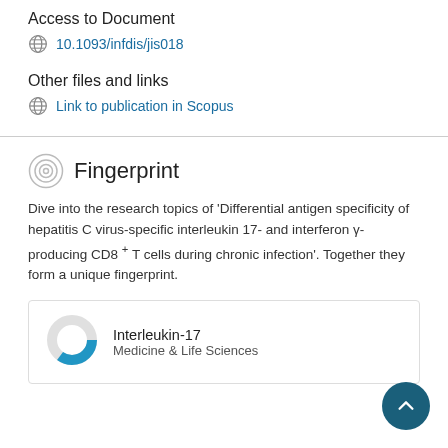Access to Document
10.1093/infdis/jis018
Other files and links
Link to publication in Scopus
Fingerprint
Dive into the research topics of 'Differential antigen specificity of hepatitis C virus-specific interleukin 17- and interferon γ-producing CD8 + T cells during chronic infection'. Together they form a unique fingerprint.
Interleukin-17
Medicine & Life Sciences